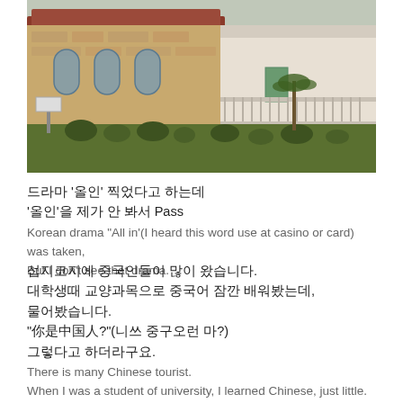[Figure (photo): Photograph of a building complex with a stone church-like structure on the left with arched windows and red/brown roof, and a white house-style building on the right with a porch railing. Green lawn and shrubs in the foreground, overcast sky.]
드라마 '올인' 찍었다고 하는데
'올인'을 제가 안 봐서 Pass
Korean drama "All in'(I heard this word use at casino or card) was taken,
But I don't see that drama.
섭지코지에 중국인들이 많이 왔습니다.
대학생때 교양과목으로 중국어 잠깐 배워봤는데,
물어봤습니다.
"你是中国人？"(니쓰 중구오런 마?)
그렇다고 하더라구요.
There is many Chinese tourist.
When I was a student of university, I learned Chinese, just little.
So asked.
"Ni shi zhungguo ren ma?" (Are you Chinese?)
They said yes.